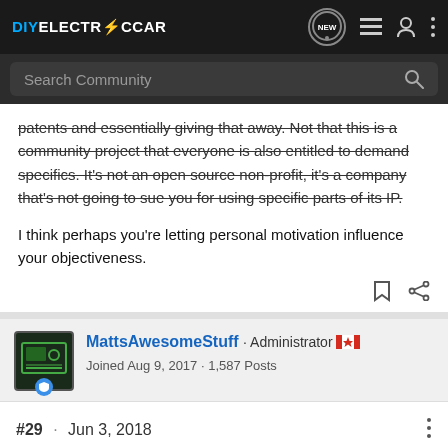DIYELECTRiCCAR · Search Community · NEW
patents and essentially giving that away. Not that this is a community project that everyone is also entitled to demand specifics. It's not an open source non-profit, it's a company that's not going to sue you for using specific parts of its IP.

I think perhaps you're letting personal motivation influence your objectiveness.
MattsAwesomeStuff · Administrator · Joined Aug 9, 2017 · 1,587 Posts
#29 · Jun 3, 2018